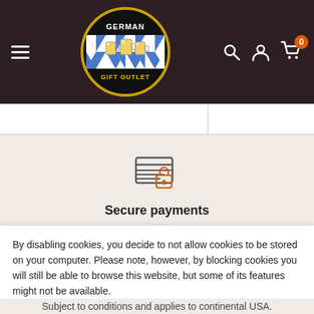[Figure (logo): German Gift Outlet logo - circular badge with beer mugs and Bavarian pattern on dark background with gold border]
Secure payments
Credit card data is not stored. Transactions are encrypted and
By disabling cookies, you decide to not allow cookies to be stored on your computer.  Please note, however, by blocking cookies you will still be able to browse this website, but some of its features might not be available.
Accept
Subject to conditions and applies to continental USA.